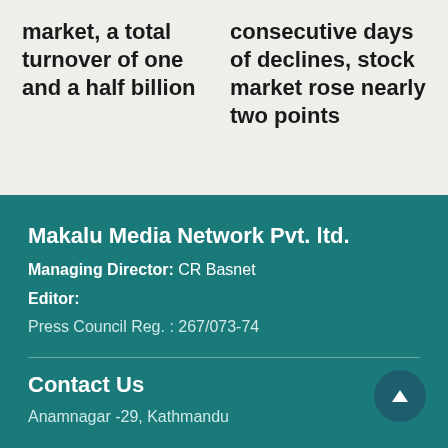market, a total turnover of one and a half billion
consecutive days of declines, stock market rose nearly two points
Makalu Media Network Pvt. ltd.
Managing Director: CR Basnet
Editor:
Press Council Reg. : 267/073-74
Contact Us
Anamnagar -29, Kathmandu